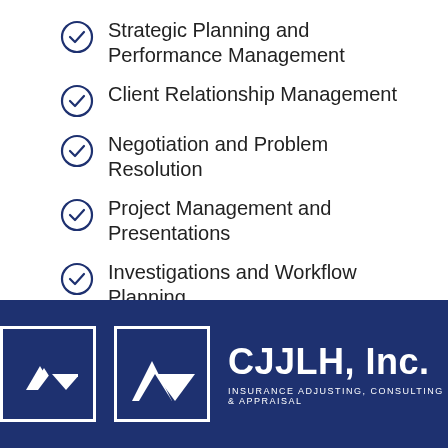Strategic Planning and Performance Management
Client Relationship Management
Negotiation and Problem Resolution
Project Management and Presentations
Investigations and Workflow Planning
[Figure (logo): CJJLH, Inc. logo with white square border containing mountain/chevron icon, company name, and tagline: Insurance Adjusting, Consulting & Appraisal on dark navy background]